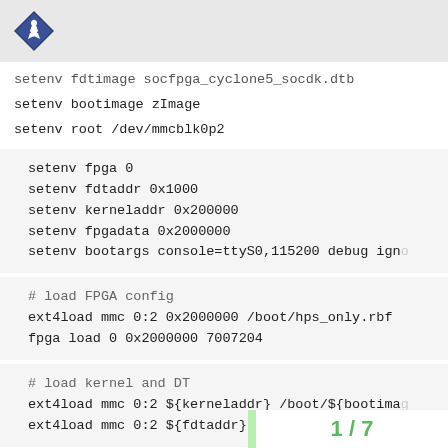setenv fdtimage socfpga_cyclone5_socdk.dtb
setenv bootimage zImage
setenv root /dev/mmcblk0p2
setenv fpga 0
setenv fdtaddr 0x1000
setenv kerneladdr 0x200000
setenv fpgadata 0x2000000
setenv bootargs console=ttyS0,115200 debug igno
# load FPGA config
ext4load mmc 0:2 0x2000000 /boot/hps_only.rbf
fpga load 0 0x2000000 7007204
# load kernel and DT
ext4load mmc 0:2 ${kerneladdr} /boot/${bootima
ext4load mmc 0:2 ${fdtaddr} /boot/${fdtimage}
# setup bridges
1 / 7